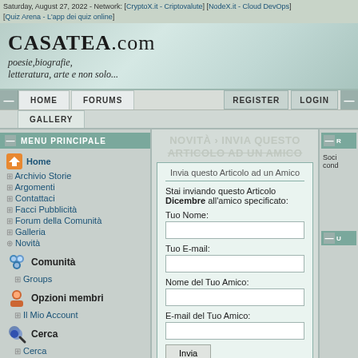Saturday, August 27, 2022 - Network: [CryptoX.it - Criptovalute] [NodeX.it - Cloud DevOps] [Quiz Arena - L'app dei quiz online]
[Figure (logo): CASATEA.com logo with tagline: poesie, biografie, letteratura, arte e non solo...]
HOME  FORUMS  GALLERY  REGISTER  LOGIN
MENU PRINCIPALE
Home
Archivio Storie
Argomenti
Contattaci
Facci Pubblicità
Forum della Comunità
Galleria
Novità
Comunità
Groups
Opzioni membri
Il Mio Account
Cerca
Cerca
Forums
Web
Statistiche
Top 30
NOVITÀ › INVIA QUESTO ARTICOLO AD UN AMICO
Invia questo Articolo ad un Amico
Stai inviando questo Articolo Dicembre all'amico specificato:
Tuo Nome:
Tuo E-mail:
Nome del Tuo Amico:
E-mail del Tuo Amico:
Invia